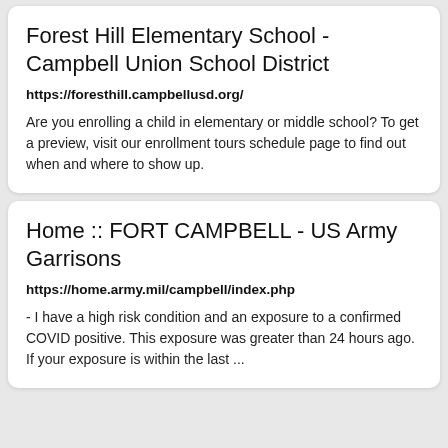Forest Hill Elementary School - Campbell Union School District
https://foresthill.campbellusd.org/
Are you enrolling a child in elementary or middle school? To get a preview, visit our enrollment tours schedule page to find out when and where to show up.
Home :: FORT CAMPBELL - US Army Garrisons
https://home.army.mil/campbell/index.php
- I have a high risk condition and an exposure to a confirmed COVID positive. This exposure was greater than 24 hours ago. If your exposure is within the last ...